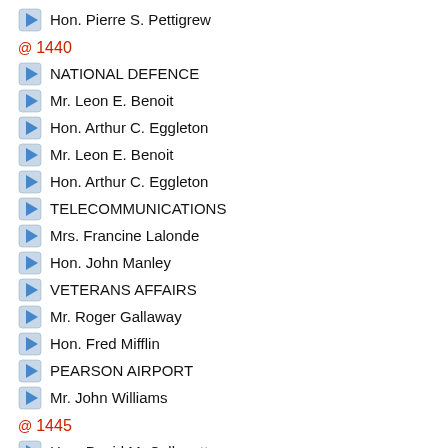Hon. Pierre S. Pettigrew
@ 1440
NATIONAL DEFENCE
Mr. Leon E. Benoit
Hon. Arthur C. Eggleton
Mr. Leon E. Benoit
Hon. Arthur C. Eggleton
TELECOMMUNICATIONS
Mrs. Francine Lalonde
Hon. John Manley
VETERANS AFFAIRS
Mr. Roger Gallaway
Hon. Fred Mifflin
PEARSON AIRPORT
Mr. John Williams
@ 1445
Hon. David M. Collenette
Mr. John Williams
Hon. David M. Collenette
ENVIRONMENT